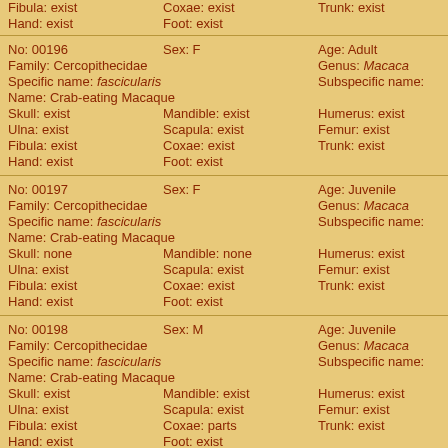Fibula: exist | Coxae: exist | Trunk: exist | Hand: exist | Foot: exist
No: 00196 | Sex: F | Age: Adult | Family: Cercopithecidae | Genus: Macaca | Specific name: fascicularis | Subspecific name: | Name: Crab-eating Macaque | Skull: exist | Mandible: exist | Humerus: exist | Radius: ex | Ulna: exist | Scapula: exist | Femur: exist | Tibia: exis | Fibula: exist | Coxae: exist | Trunk: exist | Hand: exist | Foot: exist
No: 00197 | Sex: F | Age: Juvenile | Family: Cercopithecidae | Genus: Macaca | Specific name: fascicularis | Subspecific name: | Name: Crab-eating Macaque | Skull: none | Mandible: none | Humerus: exist | Radius: ex | Ulna: exist | Scapula: exist | Femur: exist | Tibia: exis | Fibula: exist | Coxae: exist | Trunk: exist | Hand: exist | Foot: exist
No: 00198 | Sex: M | Age: Juvenile | Family: Cercopithecidae | Genus: Macaca | Specific name: fascicularis | Subspecific name: | Name: Crab-eating Macaque | Skull: exist | Mandible: exist | Humerus: exist | Radius: ex | Ulna: exist | Scapula: exist | Femur: exist | Tibia: exis | Fibula: exist | Coxae: parts | Trunk: exist | Hand: exist | Foot: exist
No: 00199 | Sex: F | Age: Adult